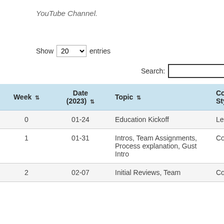YouTube Channel.
Show 20 entries
Search:
| Week | Date (2023) | Topic | Comment Style |
| --- | --- | --- | --- |
| 0 | 01-24 | Education Kickoff | Lecture |
| 1 | 01-31 | Intros, Team Assignments, Process explanation, Gust Intro | Collaborat... |
| 2 | 02-07 | Initial Reviews, Team... | Collaborat... |